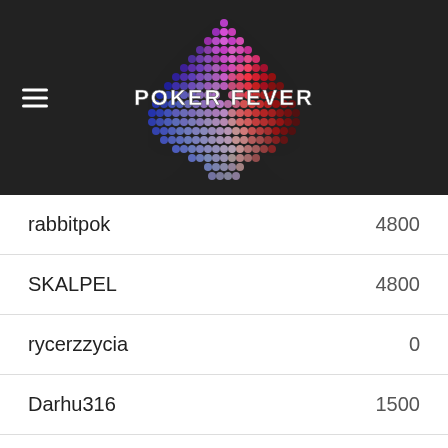[Figure (logo): Poker Fever logo — a spade shape made of colorful dots (blue, purple, pink, red) with 'POKER FEVER' text in white block letters centered on the spade, on a dark background. Menu hamburger icon on the left.]
| Name | Score |
| --- | --- |
| rabbitpok | 4800 |
| SKALPEL | 4800 |
| rycerzzycia | 0 |
| Darhu316 | 1500 |
| RedMilan | 2500 |
| BallerinaLolly | 4800 |